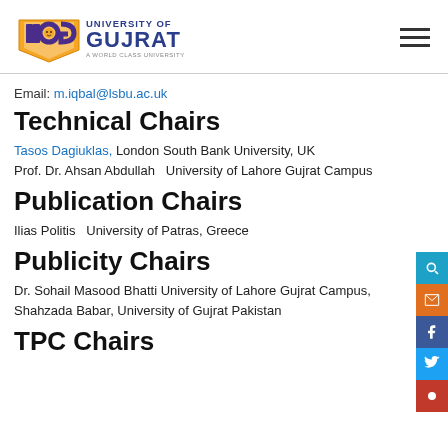University of Gujrat
Email: m.iqbal@lsbu.ac.uk
Technical Chairs
Tasos Dagiuklas, London South Bank University, UK
Prof. Dr. Ahsan Abdullah  University of Lahore Gujrat Campus
Publication Chairs
Ilias Politis  University of Patras, Greece
Publicity Chairs
Dr. Sohail Masood Bhatti University of Lahore Gujrat Campus,
Shahzada Babar, University of Gujrat Pakistan
TPC Chairs